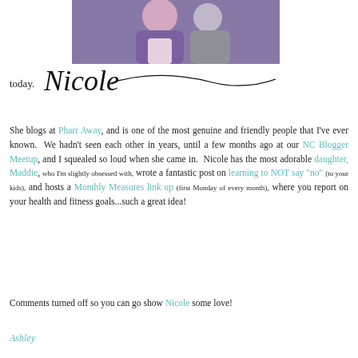[Figure (photo): Photo of two people outdoors, one wearing purple, partially cropped at top of page]
today. Nicole
She blogs at Pharr Away, and is one of the most genuine and friendly people that I've ever known. We hadn't seen each other in years, until a few months ago at our NC Blogger Meetup, and I squealed so loud when she came in. Nicole has the most adorable daughter, Maddie, who I'm slightly obsessed with, wrote a fantastic post on learning to NOT say "no" (to your kids), and hosts a Monthly Measures link up (first Monday of every month), where you report on your health and fitness goals...such a great idea!
Comments turned off so you can go show Nicole some love!
Ashley